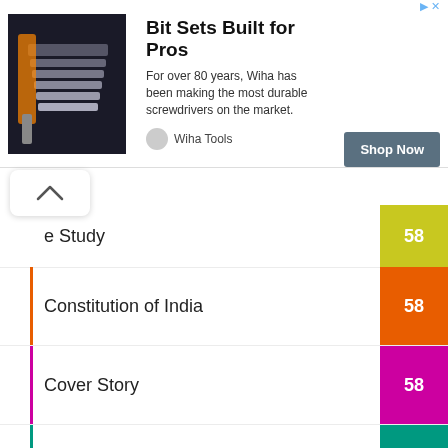[Figure (infographic): Advertisement banner for Wiha Tools - Bit Sets Built for Pros. Shows screwdriver bit set image, ad copy, and Shop Now button.]
e Study  58
Constitution of India  58
Cover Story  58
Crime File  50
Cyber Space  29
Editorial  21
Good Living  225
Harvard Law School  48
Know Your Judges